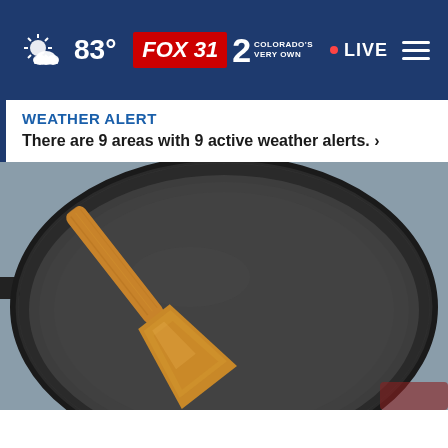83° FOX31 2 COLORADO'S VERY OWN · LIVE
WEATHER ALERT
There are 9 areas with 9 active weather alerts. >
[Figure (photo): A dark non-stick frying pan with a wooden spatula resting inside it, photographed from above. The pan is on a stovetop.]